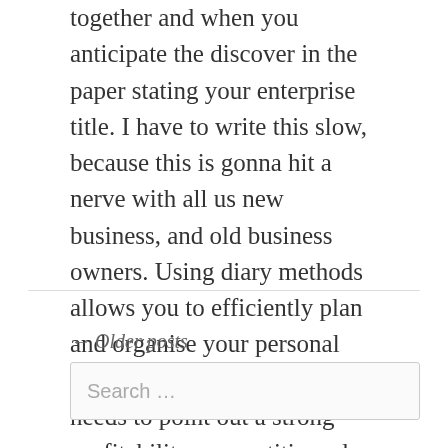together and when you anticipate the discover in the paper stating your enterprise title. I have to write this slow, because this is gonna hit a nerve with all us new business, and old business owners. Using diary methods allows you to efficiently plan and organise your personal time as well as others. A seller needs to point out a strong profitability, competitive edge to stay profitable, sustainability to survive financial downturns, scalability so the enterprise grows, and a business tradition so good workers stay. I am . . . Read More
← Older posts
Search …